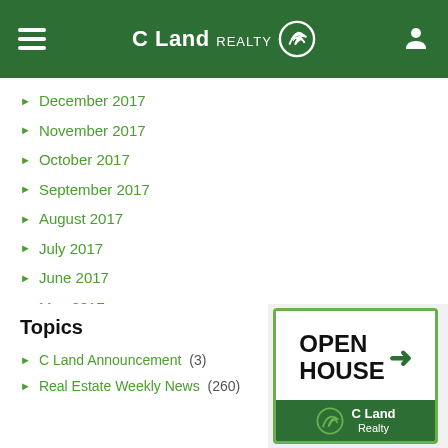C Land REALTY
December 2017
November 2017
October 2017
September 2017
August 2017
July 2017
June 2017
May 2017
April 2017
March 2017
Topics
C Land Announcement  (3)
Real Estate Weekly News  (260)
[Figure (logo): Open House badge with C Land Realty logo on green background]